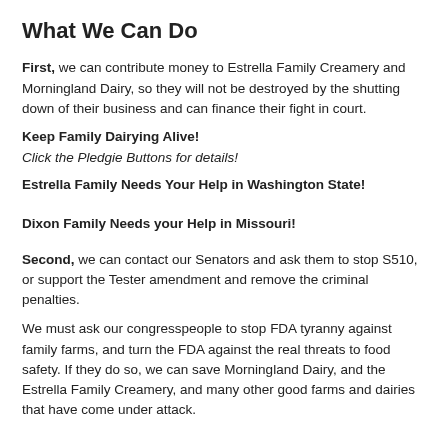What We Can Do
First, we can contribute money to Estrella Family Creamery and Morningland Dairy, so they will not be destroyed by the shutting down of their business and can finance their fight in court.
Keep Family Dairying Alive!
Click the Pledgie Buttons for details!
Estrella Family Needs Your Help in Washington State!
Dixon Family Needs your Help in Missouri!
Second, we can contact our Senators and ask them to stop S510, or support the Tester amendment and remove the criminal penalties.
We must ask our congresspeople to stop FDA tyranny against family farms, and turn the FDA against the real threats to food safety. If they do so, we can save Morningland Dairy, and the Estrella Family Creamery, and many other good farms and dairies that have come under attack.